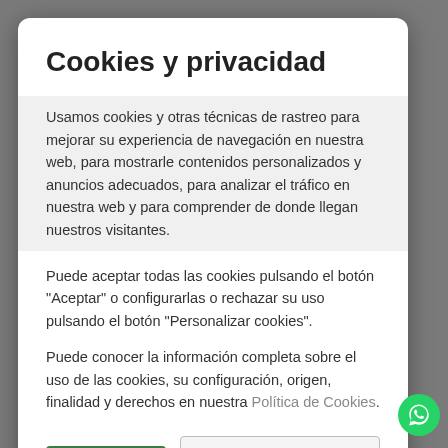Cookies y privacidad
Usamos cookies y otras técnicas de rastreo para mejorar su experiencia de navegación en nuestra web, para mostrarle contenidos personalizados y anuncios adecuados, para analizar el tráfico en nuestra web y para comprender de donde llegan nuestros visitantes.
Puede aceptar todas las cookies pulsando el botón "Aceptar" o configurarlas o rechazar su uso pulsando el botón "Personalizar cookies".
Puede conocer la información completa sobre el uso de las cookies, su configuración, origen, finalidad y derechos en nuestra Política de Cookies.